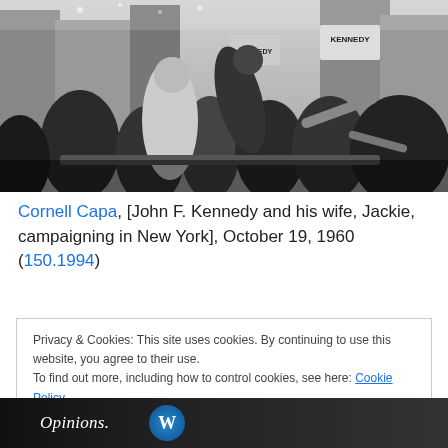[Figure (photo): Black and white photograph of John F. Kennedy and his wife Jackie campaigning in New York, with crowd and Kennedy campaign signs visible, October 19, 1960.]
Cornell Capa, [John F. Kennedy and his wife, Jackie, campaigning in New York], October 19, 1960 (150.1994)
Privacy & Cookies: This site uses cookies. By continuing to use this website, you agree to their use.
To find out more, including how to control cookies, see here: Cookie Policy
Close and accept
Opinions.